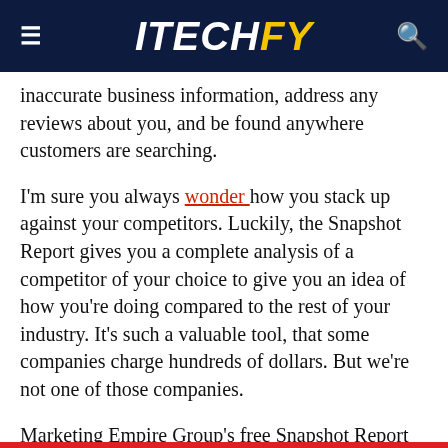ITECHFY
inaccurate business information, address any reviews about you, and be found anywhere customers are searching.
I'm sure you always wonder how you stack up against your competitors. Luckily, the Snapshot Report gives you a complete analysis of a competitor of your choice to give you an idea of how you're doing compared to the rest of your industry. It's such a valuable tool, that some companies charge hundreds of dollars. But we're not one of those companies.
Marketing Empire Group's free Snapshot Report will analyze all aspects of your business, from website performance to social media to SEO. We want to help you identify any weak points so that you can shore them up